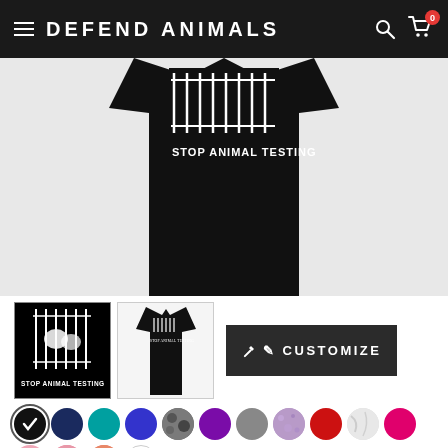DEFEND ANIMALS
[Figure (photo): Large product photo: black t-shirt with 'STOP ANIMAL TESTING' graphic design showing animals in cages, white text on black shirt]
[Figure (photo): Thumbnail 1: black and white image of animals in cages with 'STOP ANIMAL TESTING' text]
[Figure (photo): Thumbnail 2: black women's fitted t-shirt with the stop animal testing graphic]
[Figure (other): CUSTOMIZE button - dark background with pencil icon]